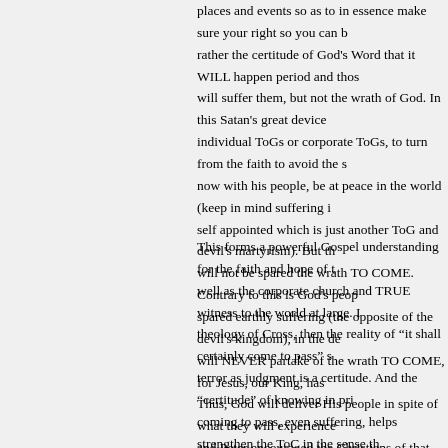places and events so as to in essence make sure your right so you can b rather the certitude of God's Word that it WILL happen period and thos will suffer them, but not the wrath of God. In this Satan's great device individual ToGs or corporate ToGs, to turn from the faith to avoid the s now with his people, be at peace in the world (keep in mind suffering i self appointed which is just another ToG and devil's martyrism). But th will not be spared the wrath TO COME. Contrary to this is God's peop spared earthly suffering (the opposite of the devil's kingdom), in the de will NEVER partake of the wrath TO COME, for Jesus, our King, has Thus, God will deliver His people in spite of what they will experience and Peter encouraged the Christians of that time when all hell was actu
This forms a powerful Gospel understanding for the faith and hope of t well as the corporate church and TRUE witness to the world at large. I theology of Cross, then the reality of "it shall certainly come to pass" s terror as judgment is a certitude. And the "certitude" of knowing in pri coming to pass, even suffering, helps strengthen the ToC in the sense th expected, but don't loose heart, as the hidden God is really there for yo glory (for now)". One man suffers and curses God, the other suffers an working knowing the Lord will deliver him. Perhaps one is just a re-sta